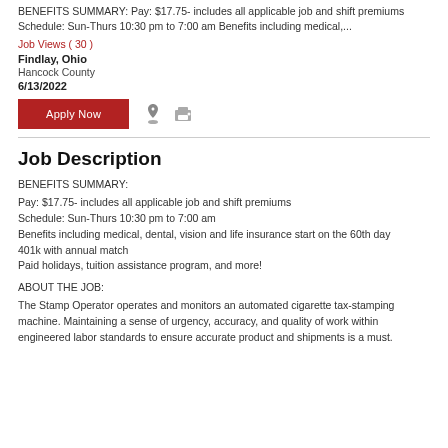BENEFITS SUMMARY: Pay: $17.75- includes all applicable job and shift premiums Schedule: Sun-Thurs 10:30 pm to 7:00 am Benefits including medical,...
Job Views ( 30 )
Findlay, Ohio
Hancock County
6/13/2022
Apply Now
Job Description
BENEFITS SUMMARY:
Pay: $17.75- includes all applicable job and shift premiums
Schedule: Sun-Thurs 10:30 pm to 7:00 am
Benefits including medical, dental, vision and life insurance start on the 60th day
401k with annual match
Paid holidays, tuition assistance program, and more!
ABOUT THE JOB:
The Stamp Operator operates and monitors an automated cigarette tax-stamping machine. Maintaining a sense of urgency, accuracy, and quality of work within engineered labor standards to ensure accurate product and shipments is a must.